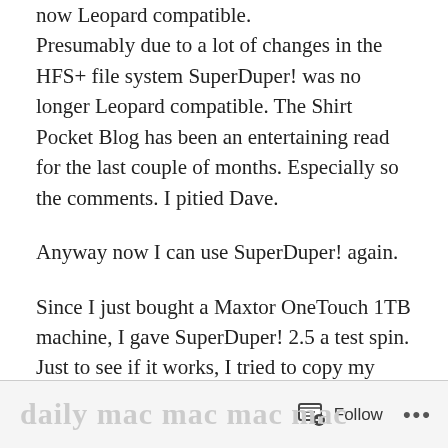now Leopard compatible. Presumably due to a lot of changes in the HFS+ file system SuperDuper! was no longer Leopard compatible. The Shirt Pocket Blog has been an entertaining read for the last couple of months. Especially so the comments. I pitied Dave.
Anyway now I can use SuperDuper! again.
Since I just bought a Maxtor OneTouch 1TB machine, I gave SuperDuper! 2.5 a test spin. Just to see if it works, I tried to copy my Time Machine Backup from my OneTouch 500 MB to the other drive. As you may know you cannot just do a file copy. That will not work. Complicated stuff and all.
Follow ···